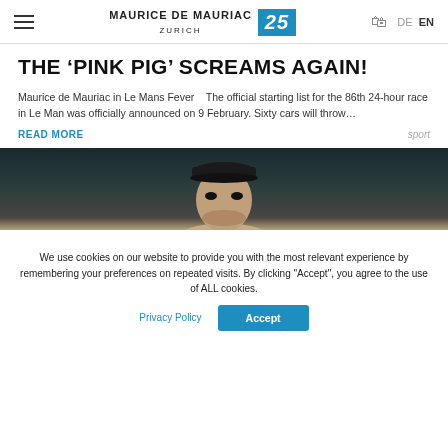MAURICE DE MAURIAC ZURICH 25 DE EN
THE ‘PINK PIG’ SCREAMS AGAIN!
Maurice de Mauriac in Le Mans Fever   The official starting list for the 86th 24-hour race in Le Man was officially announced on 9 February. Sixty cars will throw…
READ MORE   sport
[Figure (photo): Portrait photo of a young man wearing a dark cap against a dark teal background]
We use cookies on our website to provide you with the most relevant experience by remembering your preferences on repeated visits. By clicking "Accept", you agree to the use of ALL cookies.
Privacy Policy   Accept